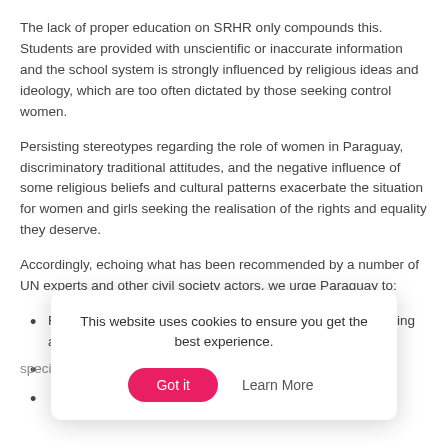The lack of proper education on SRHR only compounds this. Students are provided with unscientific or inaccurate information and the school system is strongly influenced by religious ideas and ideology, which are too often dictated by those seeking control women.
Persisting stereotypes regarding the role of women in Paraguay, discriminatory traditional attitudes, and the negative influence of some religious beliefs and cultural patterns exacerbate the situation for women and girls seeking the realisation of the rights and equality they deserve.
Accordingly, echoing what has been recommended by a number of UN experts and other civil society actors, we urge Paraguay to:
Repeal all legislation criminalizing women and girls for having an
[partially obscured] ...uce
[partially obscured] ...ment specific policies to advance women's rights and eradicate
This website uses cookies to ensure you get the best experience.